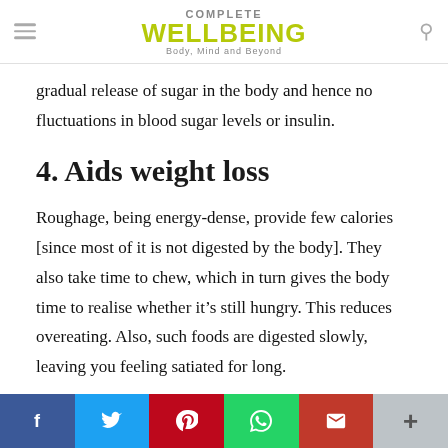COMPLETE WELLBEING
Body, Mind and Beyond
gradual release of sugar in the body and hence no fluctuations in blood sugar levels or insulin.
4. Aids weight loss
Roughage, being energy-dense, provide few calories [since most of it is not digested by the body]. They also take time to chew, which in turn gives the body time to realise whether it’s still hungry. This reduces overeating. Also, such foods are digested slowly, leaving you feeling satiated for long.
Besides the above, roughage may protect you from colon cancer, suggest some studies. It also has cholesterol-lowering effects, thus
[Figure (infographic): Social media sharing bar with Facebook, Twitter, Pinterest, WhatsApp, Gmail, and More buttons]